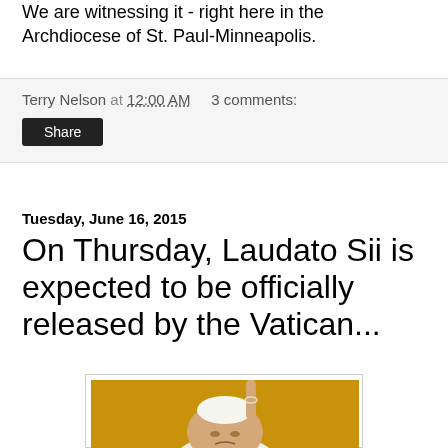We are witnessing it - right here in the Archdiocese of St. Paul-Minneapolis.
Terry Nelson at 12:00 AM   3 comments:
Share
Tuesday, June 16, 2015
On Thursday, Laudato Sii is expected to be officially released by the Vatican...
[Figure (photo): Photo of Pope Francis pointing one finger upward against a golden/yellow background, looking upward]